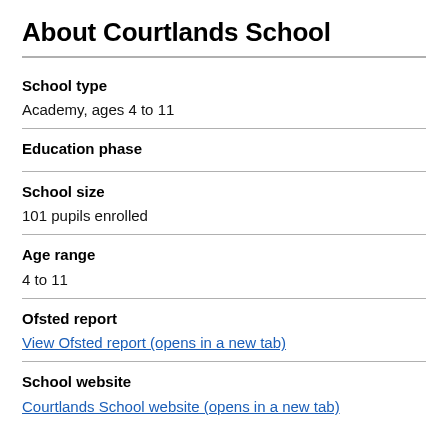About Courtlands School
School type
Academy, ages 4 to 11
Education phase
School size
101 pupils enrolled
Age range
4 to 11
Ofsted report
View Ofsted report (opens in a new tab)
School website
Courtlands School website (opens in a new tab)